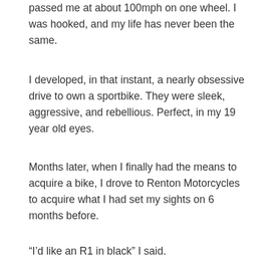passed me at about 100mph on one wheel. I was hooked, and my life has never been the same.
I developed, in that instant, a nearly obsessive drive to own a sportbike. They were sleek, aggressive, and rebellious. Perfect, in my 19 year old eyes.
Months later, when I finally had the means to acquire a bike, I drove to Renton Motorcycles to acquire what I had set my sights on 6 months before.
“I’d like an R1 in black” I said.